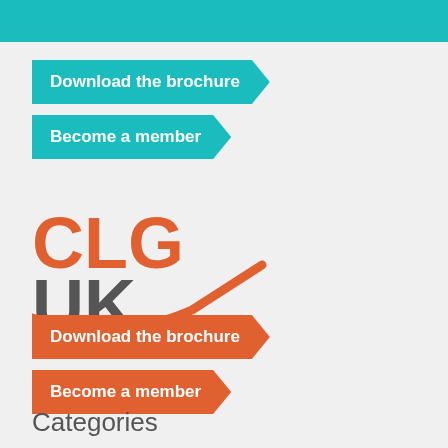[Figure (logo): Partial teal bar at top of page, cut off]
Download the brochure
Become a member
[Figure (logo): CLG UK logo with orange CLG text, gray UK text, and orange swoosh underline]
Download the brochure
Become a member
Categories